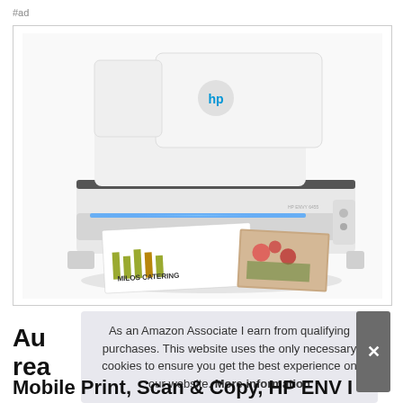#ad
[Figure (photo): HP ENVY all-in-one printer in white with the HP logo on top, printing documents including a page that says MILOS CATERING and a food photo, with blue LED light illuminating the paper output tray.]
As an Amazon Associate I earn from qualifying purchases. This website uses the only necessary cookies to ensure you get the best experience on our website. More information
Au
rea
Mobile Print, Scan & Copy, HP ENV I